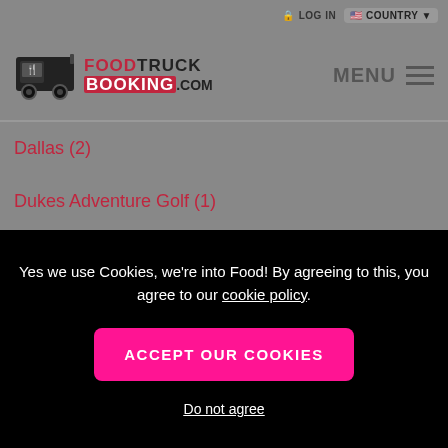LOG IN | COUNTRY
[Figure (logo): FoodTruckBooking.com logo with food truck illustration]
MENU
Dallas (2)
Dukes Adventure Golf (1)
Elkton (1)
Yes we use Cookies, we're into Food! By agreeing to this, you agree to our cookie policy.
ACCEPT OUR COOKIES
Do not agree